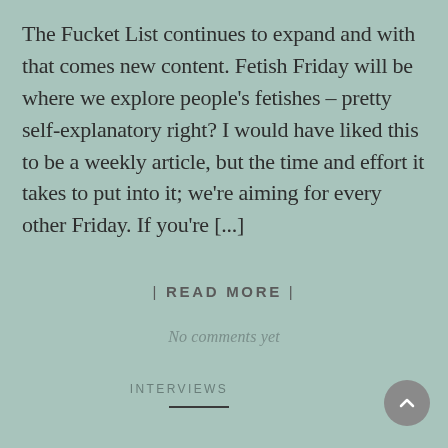The Fucket List continues to expand and with that comes new content. Fetish Friday will be where we explore people's fetishes – pretty self-explanatory right? I would have liked this to be a weekly article, but the time and effort it takes to put into it; we're aiming for every other Friday. If you're [...]
| READ MORE |
No comments yet
INTERVIEWS